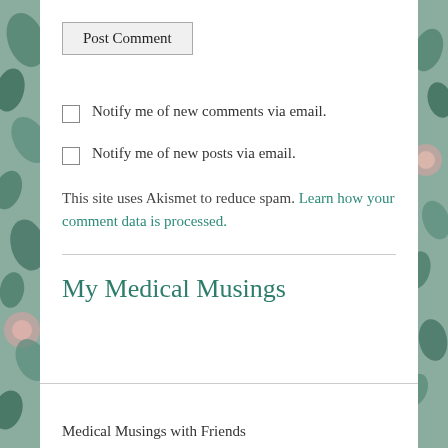Post Comment
Notify me of new comments via email.
Notify me of new posts via email.
This site uses Akismet to reduce spam. Learn how your comment data is processed.
My Medical Musings
Medical Musings with Friends